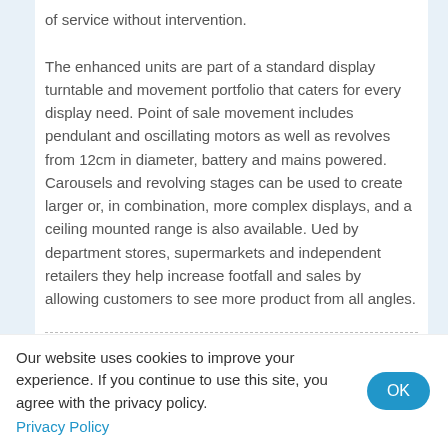of service without intervention.

The enhanced units are part of a standard display turntable and movement portfolio that caters for every display need. Point of sale movement includes pendulant and oscillating motors as well as revolves from 12cm in diameter, battery and mains powered. Carousels and revolving stages can be used to create larger or, in combination, more complex displays, and a ceiling mounted range is also available. Ued by department stores, supermarkets and independent retailers they help increase footfall and sales by allowing customers to see more product from all angles.
Published: 11 years ago
Category: Blog
Our website uses cookies to improve your experience. If you continue to use this site, you agree with the privacy policy.
Privacy Policy